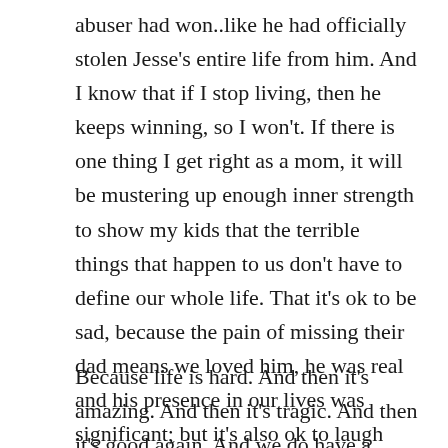abuser had won..like he had officially stolen Jesse's entire life from him. And I know that if I stop living, then he keeps winning, so I won't. If there is one thing I get right as a mom, it will be mustering up enough inner strength to show my kids that the terrible things that happen to us don't have to define our whole life. That it's ok to be sad, because the pain of missing their dad means we loved him, he was real and his presence in our lives was significant; but it's also ok to laugh and to feel joy in our after. And that we can find our groove and our happy again.
Because life is hard. And then it's amazing. And then it's tragic. And then it's good again. And we do have a choice where we go from here.